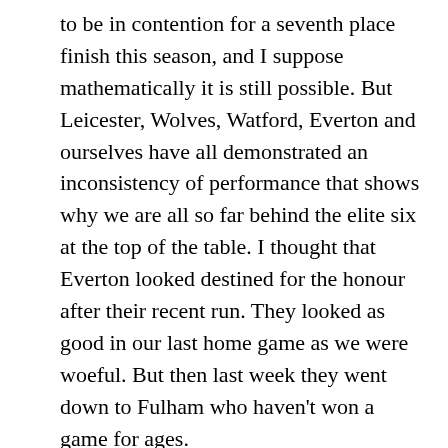to be in contention for a seventh place finish this season, and I suppose mathematically it is still possible. But Leicester, Wolves, Watford, Everton and ourselves have all demonstrated an inconsistency of performance that shows why we are all so far behind the elite six at the top of the table. I thought that Everton looked destined for the honour after their recent run. They looked as good in our last home game as we were woeful. But then last week they went down to Fulham who haven’t won a game for ages.
Leicester currently hold the position, but the four teams realistically likely to finish seventh are only separated by one point, and both